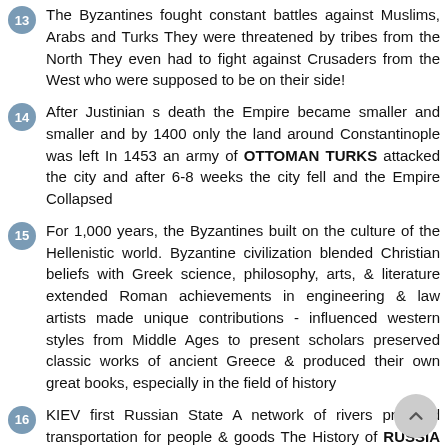13 The Byzantines fought constant battles against Muslims, Arabs and Turks They were threatened by tribes from the North They even had to fight against Crusaders from the West who were supposed to be on their side!
14 After Justinian s death the Empire became smaller and smaller and by 1400 only the land around Constantinople was left In 1453 an army of OTTOMAN TURKS attacked the city and after 6-8 weeks the city fell and the Empire Collapsed
15 For 1,000 years, the Byzantines built on the culture of the Hellenistic world. Byzantine civilization blended Christian beliefs with Greek science, philosophy, arts, & literature extended Roman achievements in engineering & law artists made unique contributions - influenced western styles from Middle Ages to present scholars preserved classic works of ancient Greece & produced their own great books, especially in the field of history
16 KIEV first Russian State A network of rivers provided transportation for people & goods The History of RUSSIA Major rivers ran north to south linking Russia to the